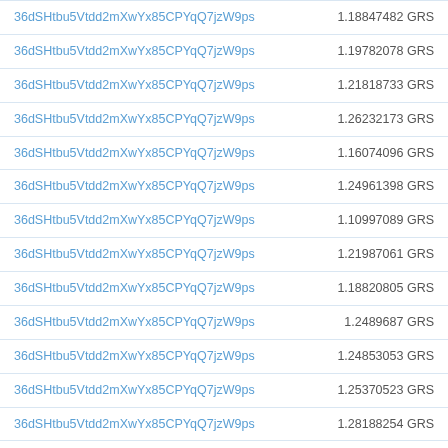| Address | Amount |
| --- | --- |
| 36dSHtbu5Vtdd2mXwYx85CPYqQ7jzW9ps | 1.18847482 GRS |
| 36dSHtbu5Vtdd2mXwYx85CPYqQ7jzW9ps | 1.19782078 GRS |
| 36dSHtbu5Vtdd2mXwYx85CPYqQ7jzW9ps | 1.21818733 GRS |
| 36dSHtbu5Vtdd2mXwYx85CPYqQ7jzW9ps | 1.26232173 GRS |
| 36dSHtbu5Vtdd2mXwYx85CPYqQ7jzW9ps | 1.16074096 GRS |
| 36dSHtbu5Vtdd2mXwYx85CPYqQ7jzW9ps | 1.24961398 GRS |
| 36dSHtbu5Vtdd2mXwYx85CPYqQ7jzW9ps | 1.10997089 GRS |
| 36dSHtbu5Vtdd2mXwYx85CPYqQ7jzW9ps | 1.21987061 GRS |
| 36dSHtbu5Vtdd2mXwYx85CPYqQ7jzW9ps | 1.18820805 GRS |
| 36dSHtbu5Vtdd2mXwYx85CPYqQ7jzW9ps | 1.2489687 GRS |
| 36dSHtbu5Vtdd2mXwYx85CPYqQ7jzW9ps | 1.24853053 GRS |
| 36dSHtbu5Vtdd2mXwYx85CPYqQ7jzW9ps | 1.25370523 GRS |
| 36dSHtbu5Vtdd2mXwYx85CPYqQ7jzW9ps | 1.28188254 GRS |
| 36dSHtbu5Vtdd2mXwYx85CPYqQ7jzW9ps | 1.26988597 GRS |
| 36dSHtbu5Vtdd2mXwYx85CPYqQ7jzW9ps | 1.26122414 GRS |